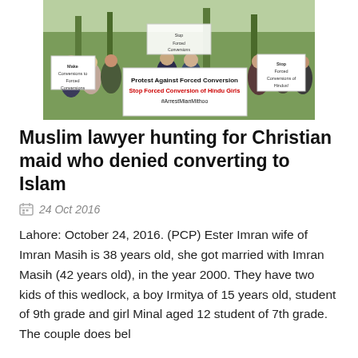[Figure (photo): A protest group holding signs reading 'Protest Against Forced Conversion', 'Stop Forced Conversion of Hindu Girls', '#ArrestMianMithoo', and other related banners.]
Muslim lawyer hunting for Christian maid who denied converting to Islam
24 Oct 2016
Lahore: October 24, 2016. (PCP) Ester Imran wife of Imran Masih is 38 years old, she got married with Imran Masih (42 years old), in the year 2000. They have two kids of this wedlock, a boy Irmitya of 15 years old, student of 9th grade and girl Minal aged 12 student of 7th grade. The couple does bel